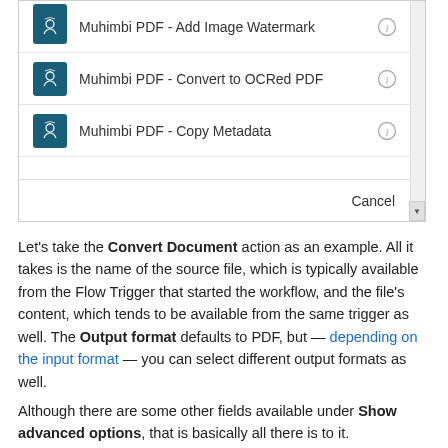[Figure (screenshot): UI dropdown list showing three Muhimbi PDF actions: Add Image Watermark, Convert to OCRed PDF, Copy Metadata — each with a teal icon and info button. A Cancel button at the bottom.]
Let's take the Convert Document action as an example. All it takes is the name of the source file, which is typically available from the Flow Trigger that started the workflow, and the file's content, which tends to be available from the same trigger as well. The Output format defaults to PDF, but — depending on the input format — you can select different output formats as well.
Although there are some other fields available under Show advanced options, that is basically all there is to it.